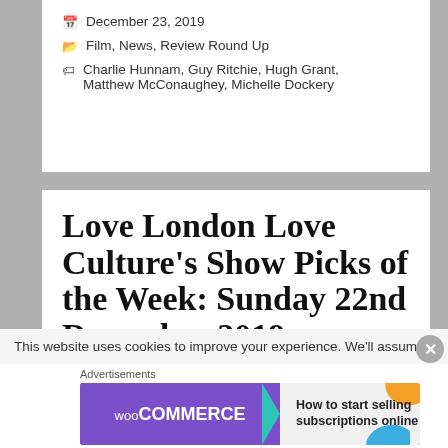December 23, 2019
Film, News, Review Round Up
Charlie Hunnam, Guy Ritchie, Hugh Grant, Matthew McConaughey, Michelle Dockery
Love London Love Culture's Show Picks of the Week: Sunday 22nd December 2019
This website uses cookies to improve your experience. We'll assume
Advertisements
[Figure (screenshot): WooCommerce advertisement banner: 'How to start selling subscriptions online']